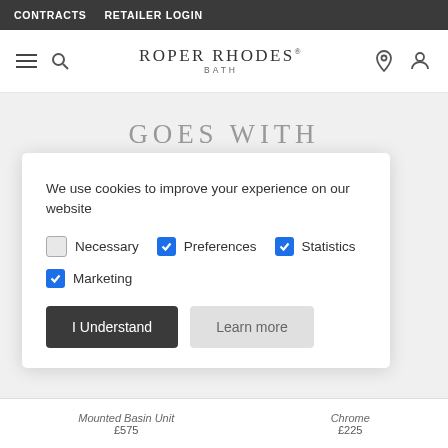CONTRACTS   RETAILER LOGIN
[Figure (logo): Roper Rhodes Bath logo with navigation icons (hamburger menu, search, location pin, user account)]
GOES WITH
We use cookies to improve your experience on our website
Necessary (unchecked), Preferences (checked), Statistics (checked)
Marketing (checked)
I Understand   Learn more
Mounted Basin Unit £575   Chrome £225